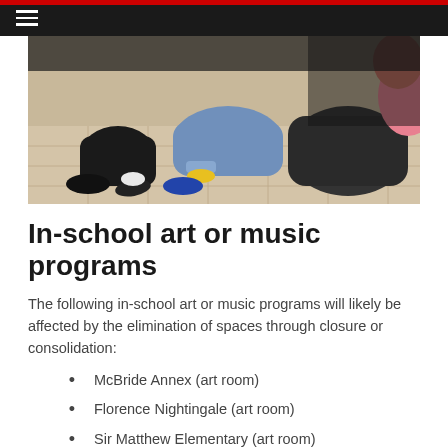[Figure (photo): Photo of students sitting on the floor, legs visible, wearing casual clothes, in a classroom or hallway setting]
In-school art or music programs
The following in-school art or music programs will likely be affected by the elimination of spaces through closure or consolidation:
McBride Annex (art room)
Florence Nightingale (art room)
Sir Matthew Elementary (art room)
McBride Main (music room)
Queen Alexandra (music room)
Walter Moberly Elementary (music room)